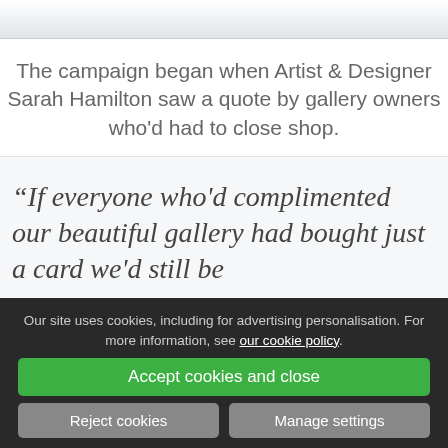[Figure (photo): Partial top image strip showing cropped content at top of page]
The campaign began when Artist & Designer Sarah Hamilton saw a quote by gallery owners who'd had to close shop.
"If everyone who'd complimented our beautiful gallery had bought just a card we'd still be
Our site uses cookies, including for advertising personalisation. For more information, see our cookie policy.
Accept cookies and close
Reject cookies
Manage settings